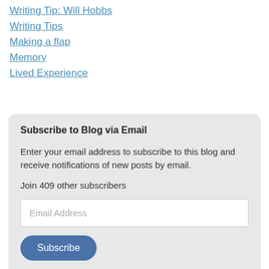Writing Tip: Will Hobbs
Writing Tips
Making a flap
Memory
Lived Experience
Subscribe to Blog via Email
Enter your email address to subscribe to this blog and receive notifications of new posts by email.
Join 409 other subscribers
Email Address
Subscribe